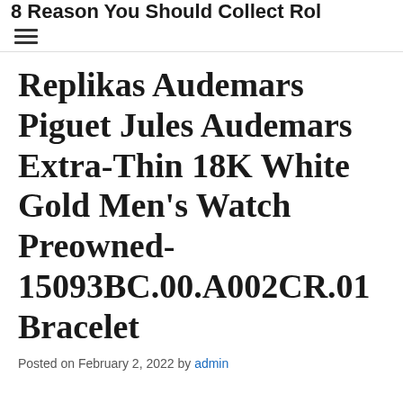8 Reason You Should Collect Rol…
Replikas Audemars Piguet Jules Audemars Extra-Thin 18K White Gold Men's Watch Preowned-15093BC.00.A002CR.01 Bracelet
Posted on February 2, 2022 by admin